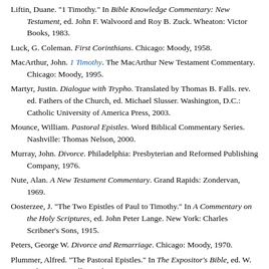Liftin, Duane. "1 Timothy." In Bible Knowledge Commentary: New Testament, ed. John F. Walvoord and Roy B. Zuck. Wheaton: Victor Books, 1983.
Luck, G. Coleman. First Corinthians. Chicago: Moody, 1958.
MacArthur, John. 1 Timothy. The MacArthur New Testament Commentary. Chicago: Moody, 1995.
Martyr, Justin. Dialogue with Trypho. Translated by Thomas B. Falls. rev. ed. Fathers of the Church, ed. Michael Slusser. Washington, D.C.: Catholic University of America Press, 2003.
Mounce, William. Pastoral Epistles. Word Biblical Commentary Series. Nashville: Thomas Nelson, 2000.
Murray, John. Divorce. Philadelphia: Presbyterian and Reformed Publishing Company, 1976.
Nute, Alan. A New Testament Commentary. Grand Rapids: Zondervan, 1969.
Oosterzee, J. "The Two Epistles of Paul to Timothy." In A Commentary on the Holy Scriptures, ed. John Peter Lange. New York: Charles Scribner's Sons, 1915.
Peters, George W. Divorce and Remarriage. Chicago: Moody, 1970.
Plummer, Alfred. "The Pastoral Epistles." In The Expositor's Bible, ed. W. Robertson Nicoll. London: A.C. Armstrong & Son, 1903.
Roberts, Alexander, and James Donaldson, eds. Constitutions of...